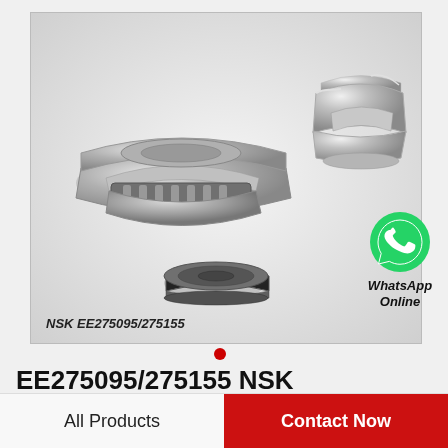[Figure (photo): NSK EE275095/275155 cylindrical roller bearings shown in multiple views: assembled cup and cone bearings, exploded half-section view, and small shielded bearing. Label text: NSK EE275095/275155]
WhatsApp Online
EE275095/275155 NSK CYLINDRICAL ROLLER BEARING
All Products
Contact Now